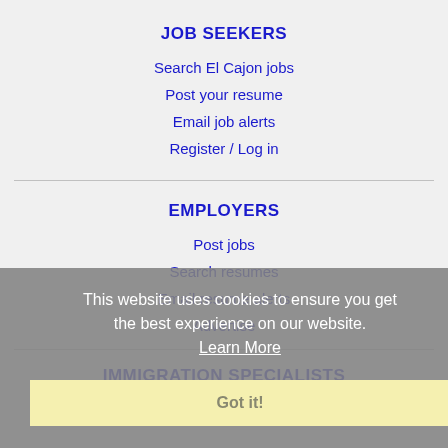JOB SEEKERS
Search El Cajon jobs
Post your resume
Email job alerts
Register / Log in
EMPLOYERS
Post jobs
Search resumes
Email resume alerts
Advertise
IMMIGRATION SPECIALISTS
Post jobs
This website uses cookies to ensure you get the best experience on our website. Learn More
Got it!